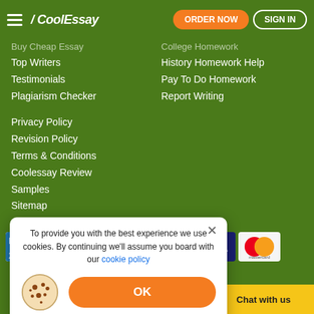CoolEssay — ORDER NOW | SIGN IN
Buy Cheap Essay
Top Writers
Testimonials
Plagiarism Checker
Privacy Policy
Revision Policy
Terms & Conditions
Coolessay Review
Samples
Sitemap
College Homework
History Homework Help
Pay To Do Homework
Report Writing
[Figure (logo): DMCA Protected badge, PayPal logo, VISA logo, Mastercard logo]
To provide you with the best experience we use cookies. By continuing we'll assume you board with our cookie policy
Mary's way, 22 Coolessay.net
Chat with us